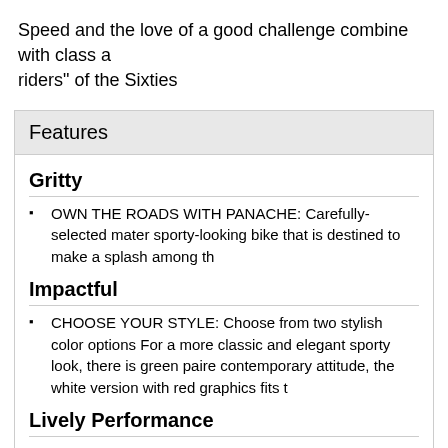Speed and the love of a good challenge combine with class a riders" of the Sixties
Features
Gritty
OWN THE ROADS WITH PANACHE: Carefully-selected mater sporty-looking bike that is destined to make a splash among th
Impactful
CHOOSE YOUR STYLE: Choose from two stylish color options For a more classic and elegant sporty look, there is green paire contemporary attitude, the white version with red graphics fits t
Lively Performance
FEEL THE POWER AND AGILITY: The Vespa GTS Super Rac traction control as standard is the fastest, most powerful Vespa with electronic injection delivers up to 23.8 Hp and its first-class short, the word Super is the perfect description.
Personality In Spades
HOP ASTRIDE THE QUEEN OF ROAD: The totally steel body